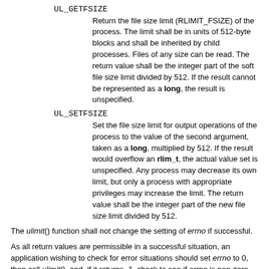UL_GETFSIZE
Return the file size limit (RLIMIT_FSIZE) of the process. The limit shall be in units of 512-byte blocks and shall be inherited by child processes. Files of any size can be read. The return value shall be the integer part of the soft file size limit divided by 512. If the result cannot be represented as a long, the result is unspecified.
UL_SETFSIZE
Set the file size limit for output operations of the process to the value of the second argument, taken as a long, multiplied by 512. If the result would overflow an rlim_t, the actual value set is unspecified. Any process may decrease its own limit, but only a process with appropriate privileges may increase the limit. The return value shall be the integer part of the new file size limit divided by 512.
The ulimit() function shall not change the setting of errno if successful.
As all return values are permissible in a successful situation, an application wishing to check for error situations should set errno to 0, then call ulimit(), and, if it returns -1, check to see if errno is non-zero.
RETURN VALUE
Upon successful completion, ulimit() shall return the value of the requested limit. Otherwise, -1 shall be returned and